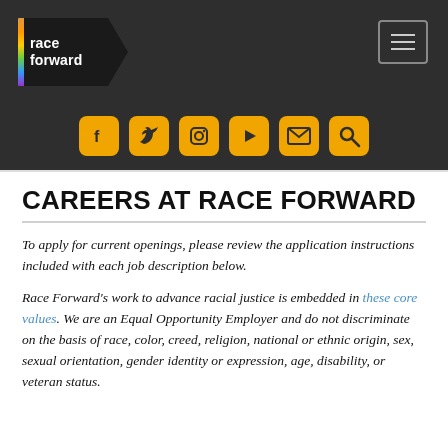[Figure (logo): Race Forward logo on dark background with colorful left border and navigation bar with hamburger menu and social media icons (Facebook, Twitter, Instagram, YouTube, Email, Search)]
CAREERS AT RACE FORWARD
To apply for current openings, please review the application instructions included with each job description below.
Race Forward's work to advance racial justice is embedded in these core values. We are an Equal Opportunity Employer and do not discriminate on the basis of race, color, creed, religion, national or ethnic origin, sex, sexual orientation, gender identity or expression, age, disability, or veteran status.